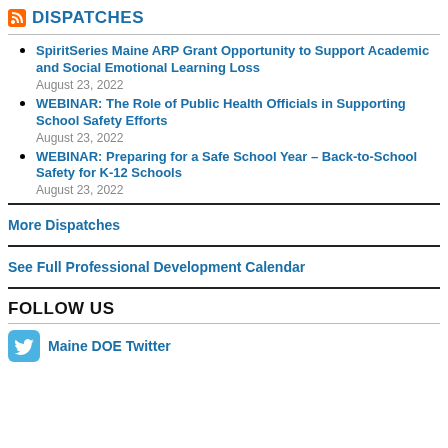DISPATCHES
SpiritSeries Maine ARP Grant Opportunity to Support Academic and Social Emotional Learning Loss
August 23, 2022
WEBINAR: The Role of Public Health Officials in Supporting School Safety Efforts
August 23, 2022
WEBINAR: Preparing for a Safe School Year – Back-to-School Safety for K-12 Schools
August 23, 2022
More Dispatches
See Full Professional Development Calendar
FOLLOW US
Maine DOE Twitter